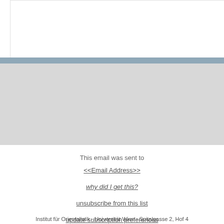[Figure (other): White box at top of page representing email header area]
This email was sent to
<<Email Address>>
why did I get this?
unsubscribe from this list
update subscription preferences
Institut für Orientalistik · Universität Wien · Spitalgasse 2, Hof 4